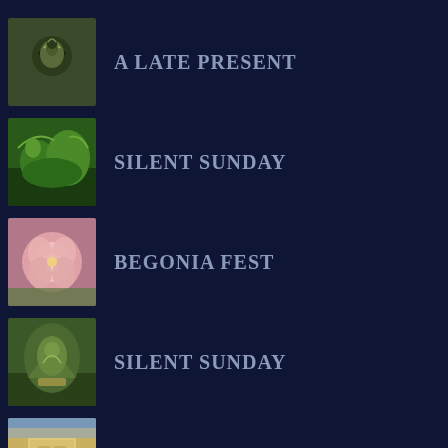A LATE PRESENT
SILENT SUNDAY
BEGONIA FEST
SILENT SUNDAY
LA DOUCE FRANCE(3)
THE ARDECHE IN FRANCE (1)
A PICTURE FOR EVERY MONTH IN 2017
WORDLESS WEDNESDAY